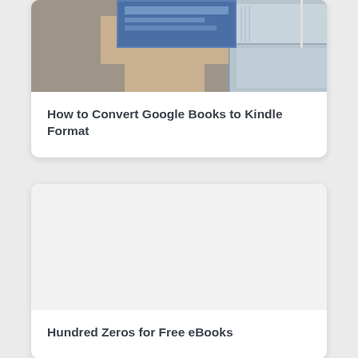[Figure (photo): Photo of a person holding a book over their face, near a filing cabinet; cropped at top of card]
How to Convert Google Books to Kindle Format
[Figure (photo): Blank/placeholder image area for second card]
Hundred Zeros for Free eBooks